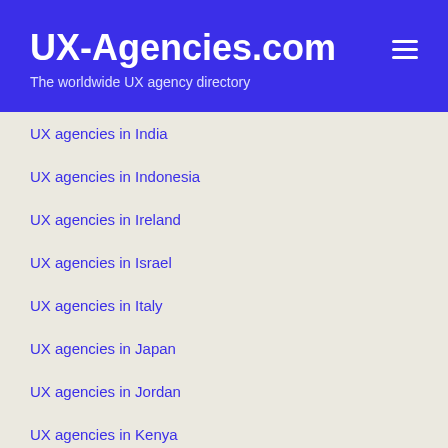UX-Agencies.com
The worldwide UX agency directory
UX agencies in India
UX agencies in Indonesia
UX agencies in Ireland
UX agencies in Israel
UX agencies in Italy
UX agencies in Japan
UX agencies in Jordan
UX agencies in Kenya
UX agencies in Laos
UX agencies in Lithuania
UX agencies in Luxembourg